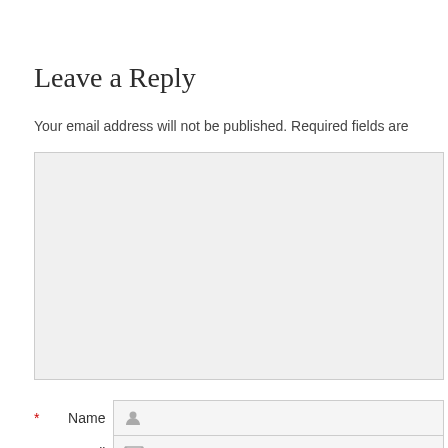Leave a Reply
Your email address will not be published. Required fields are
Name field input
Email field input